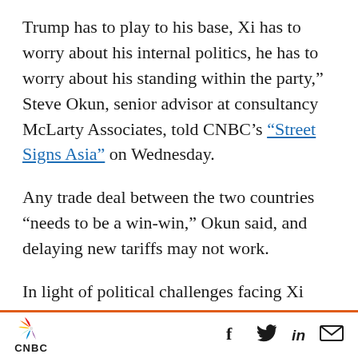Trump has to play to his base, Xi has to worry about his internal politics, he has to worry about his standing within the party," Steve Okun, senior advisor at consultancy McLarty Associates, told CNBC's "Street Signs Asia" on Wednesday.
Any trade deal between the two countries "needs to be a win-win," Okun said, and delaying new tariffs may not work.
In light of political challenges facing Xi such as Hong Kong, Okun said he can't see the Chinese leader signing an agreement "in which he gets nothing other than the postponement of new
CNBC logo with social icons: Facebook, Twitter, LinkedIn, Email